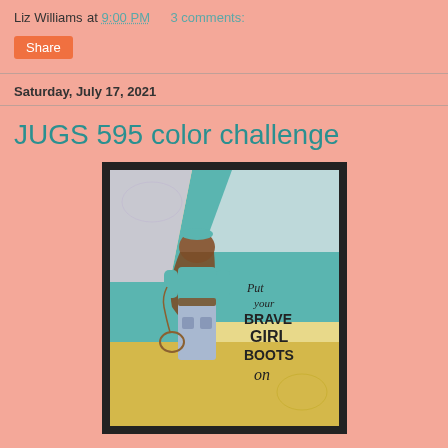Liz Williams at 9:00 PM    3 comments:
Share
Saturday, July 17, 2021
JUGS 595 color challenge
[Figure (photo): A handmade greeting card with a diagonal color-blocked background in teal, gray/white, and yellow. A stamped image of a girl seen from behind wearing a teal hat, teal shirt, and jeans, holding a lasso, is centered left. On the right side, script and block lettering reads: 'Put your BRAVE GIRL BOOTS on'. The card is mounted on a dark/black mat.]